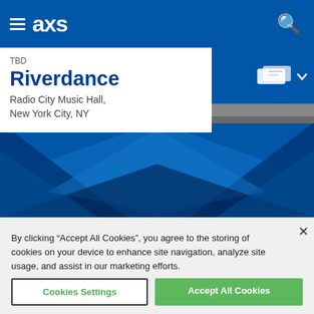AXS navigation bar with hamburger menu and search icon
TBD
Riverdance
Radio City Music Hall, New York City, NY
[Figure (illustration): Decorative blue geometric diamond/polygon background pattern for event page]
By clicking “Accept All Cookies”, you agree to the storing of cookies on your device to enhance site navigation, analyze site usage, and assist in our marketing efforts.
Cookies Settings
Accept All Cookies